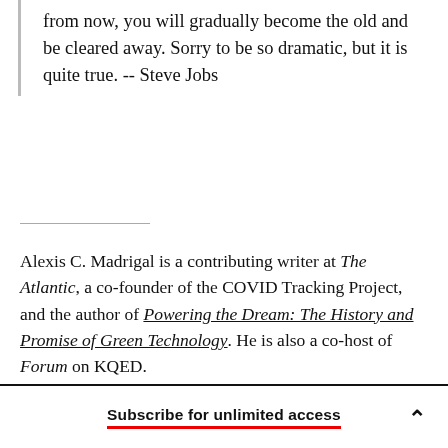from now, you will gradually become the old and be cleared away. Sorry to be so dramatic, but it is quite true. -- Steve Jobs
Alexis C. Madrigal is a contributing writer at The Atlantic, a co-founder of the COVID Tracking Project, and the author of Powering the Dream: The History and Promise of Green Technology. He is also a co-host of Forum on KQED.
Subscribe for unlimited access